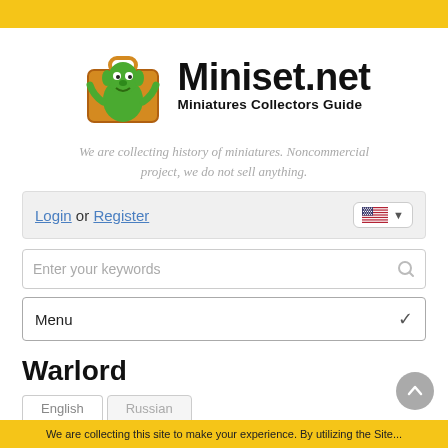[Figure (logo): Miniset.net logo with a green goblin creature in an orange suitcase, beside bold text 'Miniset.net' and subtitle 'Miniatures Collectors Guide']
We are collecting history of miniatures. Noncommercial project, we do not sell anything.
Login or Register
Enter your keywords
Menu
Warlord
English    Russian
No description in english yet. Everyone can write it,